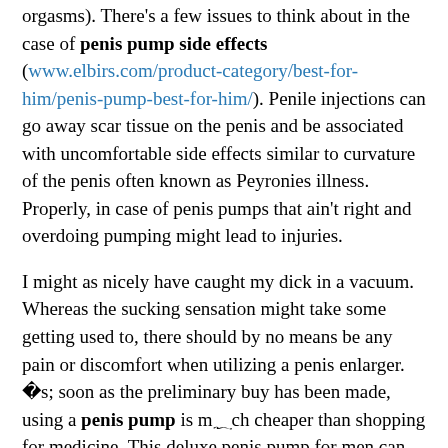orgasms). There's a few issues to think about in the case of penis pump side effects (www.elbirs.com/product-category/best-for-him/penis-pump-best-for-him/). Penile injections can go away scar tissue on the penis and be associated with uncomfortable side effects similar to curvature of the penis often known as Peyronies illness. Properly, in case of penis pumps that ain't right and overdoing pumping might lead to injuries.
I might as nicely have caught my dick in a vacuum. Whereas the sucking sensation might take some getting used to, there should by no means be any pain or discomfort when utilizing a penis enlarger. As soon as the preliminary buy has been made, using a penis pump is much cheaper than shopping for medicine. This deluxe penis pump for men can show you how to obtain a longer, bigger penis, and therefore...